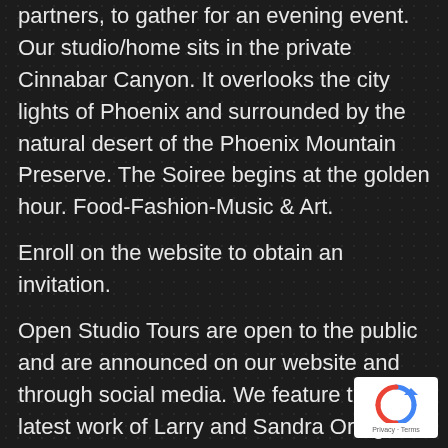partners, to gather for an evening event. Our studio/home sits in the private Cinnabar Canyon. It overlooks the city lights of Phoenix and surrounded by the natural desert of the Phoenix Mountain Preserve. The Soiree begins at the golden hour. Food-Fashion-Music & Art.
Enroll on the website to obtain an invitation.
Open Studio Tours are open to the public and are announced on our website and through social media. We feature the latest work of Larry and Sandra Ortega. The gallery and the indoor and outdoor studio space have been expanded to accommodate additional artists.
Enroll for dates to our Pop Up Friday events.
[Figure (logo): Google reCAPTCHA badge with blue and red arrow icon and Privacy - Terms text]